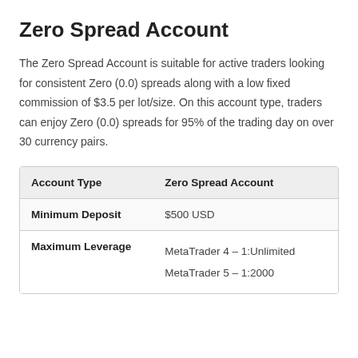Zero Spread Account
The Zero Spread Account is suitable for active traders looking for consistent Zero (0.0) spreads along with a low fixed commission of $3.5 per lot/size. On this account type, traders can enjoy Zero (0.0) spreads for 95% of the trading day on over 30 currency pairs.
| Account Type | Zero Spread Account |
| --- | --- |
| Minimum Deposit | $500 USD |
| Maximum Leverage | MetaTrader 4 – 1:Unlimited
MetaTrader 5 – 1:2000 |